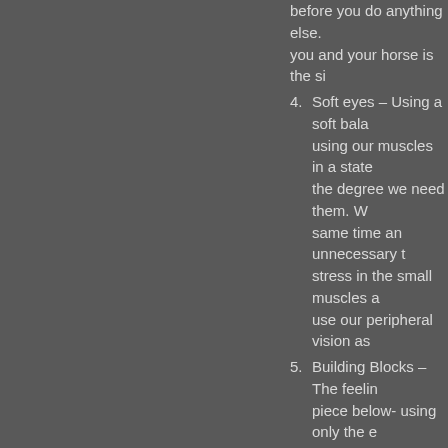before you do anything else. you and your horse is the si
4. Soft eyes – Using a soft bala using our muscles in a state the degree we need them. W same time an unnecessary t stress in the small muscles a use our peripheral vision as
5. Building Blocks – The feeling piece below- using only the e extra.
All these five principles can be ev they work best for me in their sim profound impact on positivity in an
Grounding
Centering
Breathing
Soft Eyes
Building Blocks